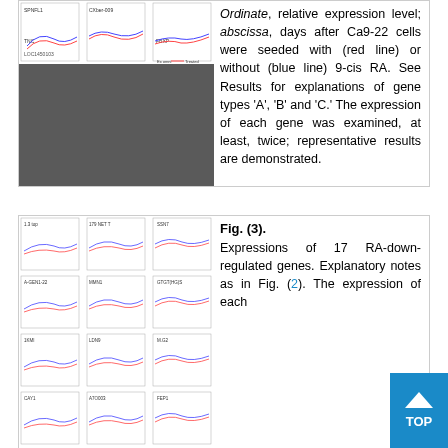[Figure (continuous-plot): Multi-panel line charts showing gene expression data (relative expression level vs days) for multiple genes, with dark gray background panel containing gene expression line graphs at top, with small white chart panels visible at top.]
Ordinate, relative expression level; abscissa, days after Ca9-22 cells were seeded with (red line) or without (blue line) 9-cis RA. See Results for explanations of gene types 'A', 'B' and 'C.' The expression of each gene was examined, at least, twice; representative results are demonstrated.
[Figure (continuous-plot): Multi-panel line charts showing expression of 17 RA-down-regulated genes, with dark gray background and multiple small white chart panels showing gene expression curves over days.]
Fig. (3). Expressions of 17 RA-down-regulated genes. Explanatory notes as in Fig. (2). The expression of each